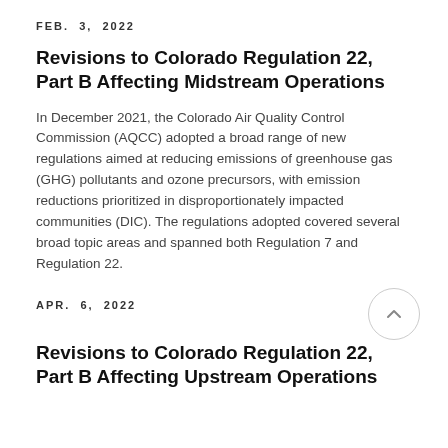FEB. 3, 2022
Revisions to Colorado Regulation 22, Part B Affecting Midstream Operations
In December 2021, the Colorado Air Quality Control Commission (AQCC) adopted a broad range of new regulations aimed at reducing emissions of greenhouse gas (GHG) pollutants and ozone precursors, with emission reductions prioritized in disproportionately impacted communities (DIC). The regulations adopted covered several broad topic areas and spanned both Regulation 7 and Regulation 22.
APR. 6, 2022
Revisions to Colorado Regulation 22, Part B Affecting Upstream Operations